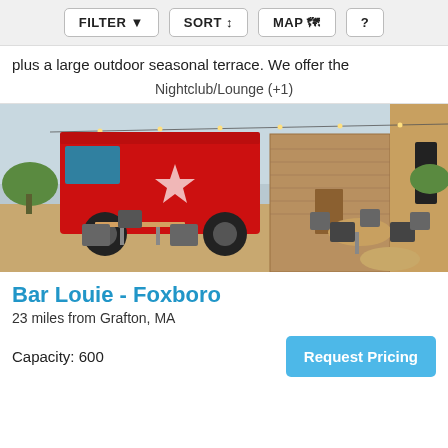FILTER  SORT  MAP  ?
plus a large outdoor seasonal terrace. We offer the
Nightclub/Lounge (+1)
[Figure (photo): Outdoor rooftop terrace with tables and chairs, a large red food truck parked nearby, string lights overhead, and a brick building in the background.]
Bar Louie - Foxboro
23 miles from Grafton, MA
Capacity: 600
Request Pricing